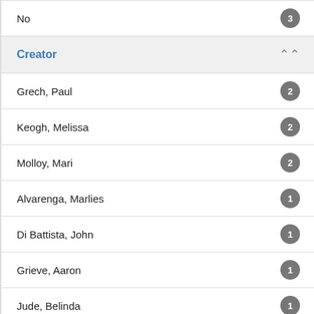No — 3
Creator
Grech, Paul — 2
Keogh, Melissa — 2
Molloy, Mari — 2
Alvarenga, Marlies — 1
Di Battista, John — 1
Grieve, Aaron — 1
Jude, Belinda — 1
Maud, Monica — 1
Scott, Wayne — 1